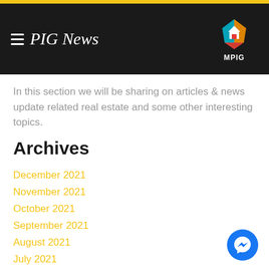MPIG News
In this section we will be sharing on articles & news update related real estate and some other interesting topics.
Archives
December 2021
November 2021
October 2021
September 2021
August 2021
July 2021
June 2021
May 2021
April 2021
March 2021
February 2021